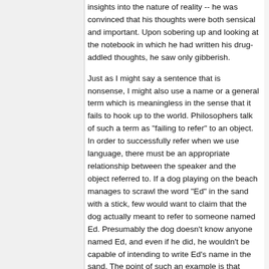insights into the nature of reality -- he was convinced that his thoughts were both sensical and important. Upon sobering up and looking at the notebook in which he had written his drug-addled thoughts, he saw only gibberish.
Just as I might say a sentence that is nonsense, I might also use a name or a general term which is meaningless in the sense that it fails to hook up to the world. Philosophers talk of such a term as "failing to refer" to an object. In order to successfully refer when we use language, there must be an appropriate relationship between the speaker and the object referred to. If a dog playing on the beach manages to scrawl the word "Ed" in the sand with a stick, few would want to claim that the dog actually meant to refer to someone named Ed. Presumably the dog doesn't know anyone named Ed, and even if he did, he wouldn't be capable of intending to write Ed's name in the sand. The point of such an example is that words do not refer to objects "magically" or intrinsically: certain conditions